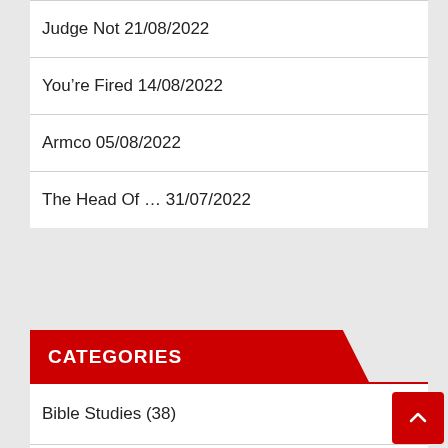Judge Not 21/08/2022
You’re Fired 14/08/2022
Armco 05/08/2022
The Head Of … 31/07/2022
CATEGORIES
Bible Studies (38)
Great News (425)